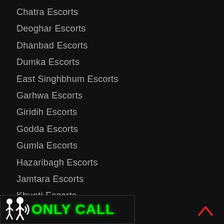Chatra Escorts
Deoghar Escorts
Dhanbad Escorts
Dumka Escorts
East Singhbhum Escorts
Garhwa Escorts
Giridih Escorts
Godda Escorts
Gumla Escorts
Hazaribagh Escorts
Jamtara Escorts
Khunti Escorts
Koderma Escorts
[Figure (logo): ONLY CALL banner with person and phone wave icons in white on dark background, green bold text reading ONLY CALL]
[Figure (other): Red upward caret / scroll-to-top arrow icon in bottom right corner]